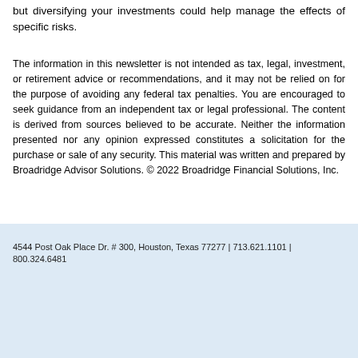but diversifying your investments could help manage the effects of specific risks.
The information in this newsletter is not intended as tax, legal, investment, or retirement advice or recommendations, and it may not be relied on for the purpose of avoiding any federal tax penalties. You are encouraged to seek guidance from an independent tax or legal professional. The content is derived from sources believed to be accurate. Neither the information presented nor any opinion expressed constitutes a solicitation for the purchase or sale of any security. This material was written and prepared by Broadridge Advisor Solutions. © 2022 Broadridge Financial Solutions, Inc.
4544 Post Oak Place Dr. # 300, Houston, Texas 77277 | 713.621.1101 | 800.324.6481